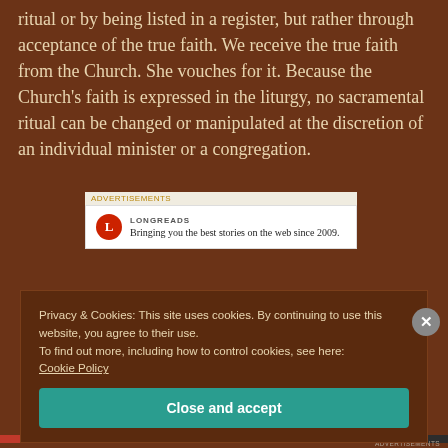ritual or by being listed in a register, but rather through acceptance of the true faith. We receive the true faith from the Church. She vouches for it. Because the Church's faith is expressed in the liturgy, no sacramental ritual can be changed or manipulated at the discretion of an individual minister or a congregation.
[Figure (other): Advertisement banner for Longreads: logo with red circle L icon, text 'Bringing you the best stories on the web since 2009.' Label above reads 'ADVERTISEMENTS']
Privacy & Cookies: This site uses cookies. By continuing to use this website, you agree to their use.
To find out more, including how to control cookies, see here: Cookie Policy
Close and accept